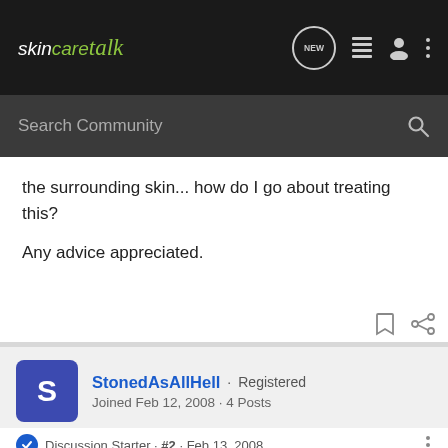skincaretalk
the surrounding skin... how do I go about treating this?
Any advice appreciated.
StonedAsAllHell · Registered
Joined Feb 12, 2008 · 4 Posts
Discussion Starter · #2 · Feb 13, 2008
This is awesome.